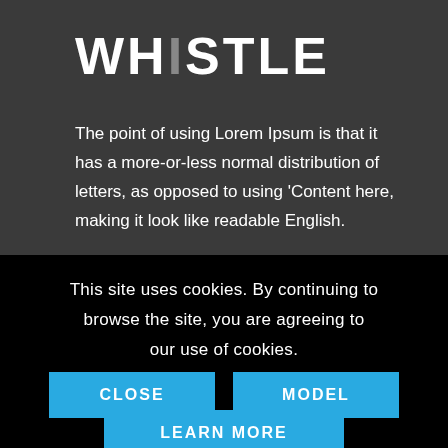WHiSTLE
The point of using Lorem Ipsum is that it has a more-or-less normal distribution of letters, as opposed to using 'Content here, making it look like readable English.
This site uses cookies. By continuing to browse the site, you are agreeing to our use of cookies.
CLOSE
MODEL
LEARN MORE